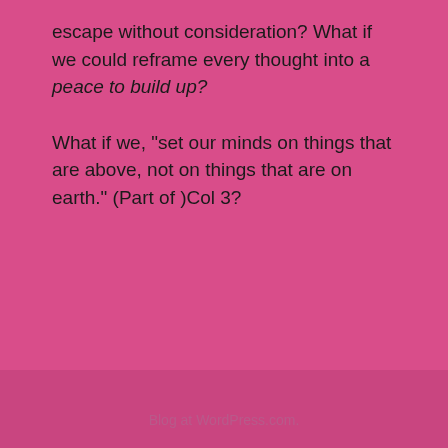escape without consideration? What if we could reframe every thought into a peace to build up?
What if we, "set our minds on things that are above, not on things that are on earth." (Part of )Col 3?
Blog at WordPress.com.